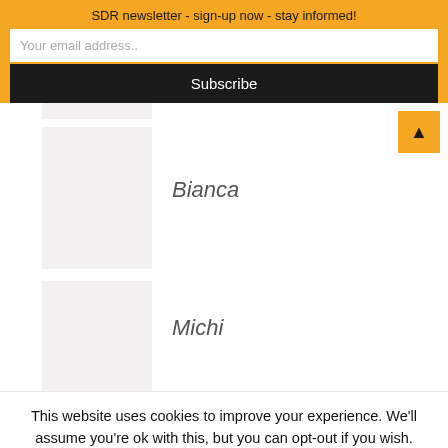SDR newsletter - sign-up now - stay informed!
Your email address..
Subscribe
[Figure (illustration): Thumbnail image placeholder (partial, top of page)]
[Figure (illustration): Thumbnail image placeholder for Bianca]
Bianca
[Figure (illustration): Thumbnail image placeholder for Michi]
Michi
This website uses cookies to improve your experience. We'll assume you're ok with this, but you can opt-out if you wish.
Accept
Reject
Read More